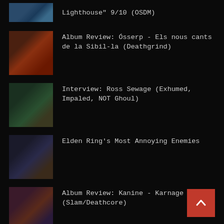Lighthouse" 9/10 (OSDM)
Album Review: Ósserp - Els nous cants de la Sibil-la (Deathgrind)
Interview: Ross Sewage (Exhumed, Impaled, NOT Ghoul)
Elden Ring's Most Annoying Enemies
Album Review: Kanine - Karnage (Slam/Deathcore)
CATEGORIES
2018 albums
(25)
2019 Albums
(112)
2020 Albums